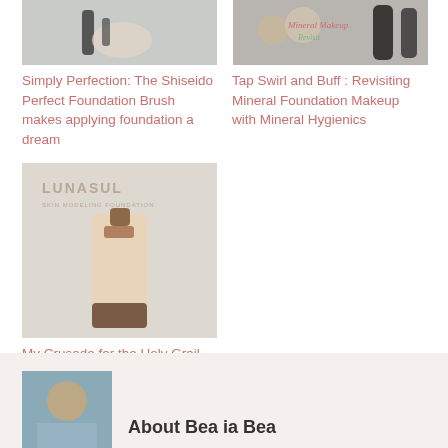[Figure (photo): Hand holding a Shiseido foundation brush]
Simply Perfection: The Shiseido Perfect Foundation Brush makes applying foundation a dream
[Figure (photo): Mineral makeup products with 'Mineral Makeup Revisit' text overlay]
Tap Swirl and Buff : Revisiting Mineral Foundation Makeup with Mineral Hygienics
[Figure (photo): Lunasol Skin Modeling Foundation bottle on white background]
My Crusade for the Holy Grail foundation ends with the Lunasol Skin Modeling Liquid Foundation
[Figure (photo): Profile photo thumbnail at bottom]
About Bea ia Bea